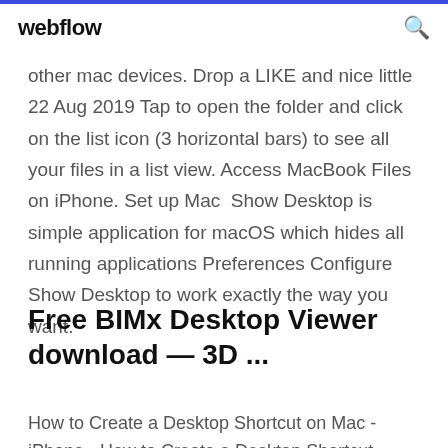webflow
other mac devices. Drop a LIKE and nice little 22 Aug 2019 Tap to open the folder and click on the list icon (3 horizontal bars) to see all your files in a list view. Access MacBook Files on iPhone. Set up Mac  Show Desktop is simple application for macOS which hides all running applications Preferences Configure Show Desktop to work exactly the way you want.
Free BIMx Desktop Viewer download — 3D ...
How to Create a Desktop Shortcut on Mac - iPhone - How to Create a Desktop Shortcut...